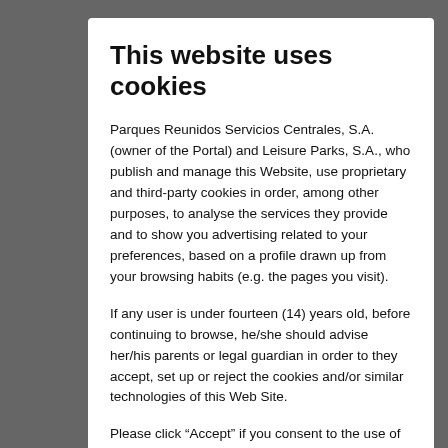This website uses cookies
Parques Reunidos Servicios Centrales, S.A. (owner of the Portal) and Leisure Parks, S.A., who publish and manage this Website, use proprietary and third-party cookies in order, among other purposes, to analyse the services they provide and to show you advertising related to your preferences, based on a profile drawn up from your browsing habits (e.g. the pages you visit).
If any user is under fourteen (14) years old, before continuing to browse, he/she should advise her/his parents or legal guardian in order to they accept, set up or reject the cookies and/or similar technologies of this Web Site.
Please click “Accept” if you consent to the use of all cookies or click “Configurations” if you prefer to manage the configuration or refuse cookies. Further information on our Cookies Policy is available .